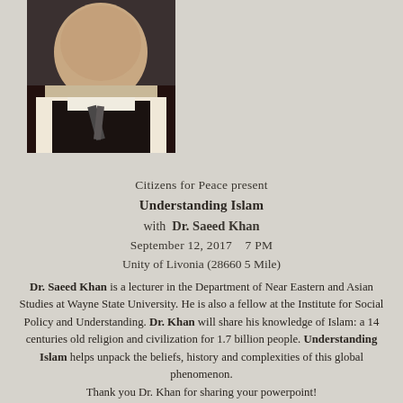[Figure (photo): Portrait photo of Dr. Saeed Khan, a man wearing a dark suit jacket, light shirt, and tie]
Citizens for Peace present
Understanding Islam
with Dr. Saeed Khan
September 12, 2017   7 PM
Unity of Livonia (28660 5 Mile)
Dr. Saeed Khan is a lecturer in the Department of Near Eastern and Asian Studies at Wayne State University. He is also a fellow at the Institute for Social Policy and Understanding. Dr. Khan will share his knowledge of Islam: a 14 centuries old religion and civilization for 1.7 billion people. Understanding Islam helps unpack the beliefs, history and complexities of this global phenomenon. Thank you Dr. Khan for sharing your powerpoint!